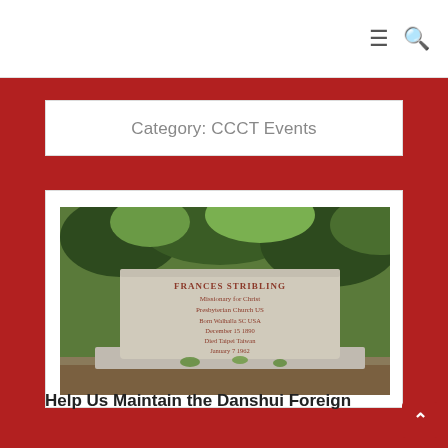≡ 🔍
Category: CCCT Events
[Figure (photo): Photograph of a gravestone for Frances Stribling, Missionary for Christ, Presbyterian Church US, Born Walhalla SC USA December 15 1890, Died Taipei Taiwan January 7 1962. The stone is set outdoors with green foliage in the background.]
Help Us Maintain the Danshui Foreign Cemetery